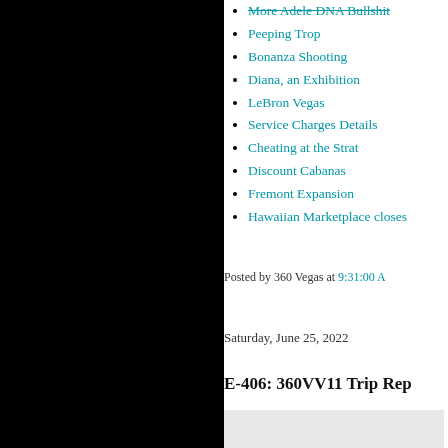More Adele DNA Bullshit
Peeping Trop
Bonanza Shooting
Diana, an Exhibition
LeBron Vegas
Service Charges Details
Cheating at the Strat
Discount Cabanas
Fremont Expansion
Hawaiian Marketplace closes
Posted by 360 Vegas at 9:31:00 A
Saturday, June 25, 2022
E-406: 360VV11 Trip Rep